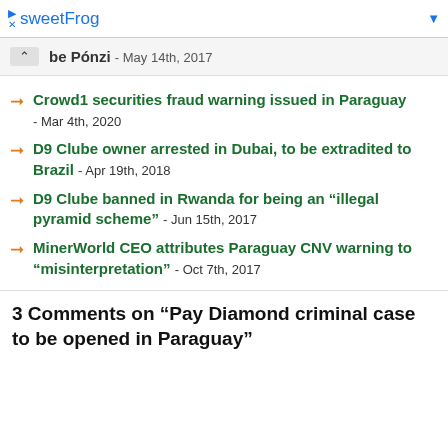sweetFrog
be Ponzi - May 14th, 2017
Crowd1 securities fraud warning issued in Paraguay - Mar 4th, 2020
D9 Clube owner arrested in Dubai, to be extradited to Brazil - Apr 19th, 2018
D9 Clube banned in Rwanda for being an “illegal pyramid scheme” - Jun 15th, 2017
MinerWorld CEO attributes Paraguay CNV warning to “misinterpretation” - Oct 7th, 2017
3 Comments on “Pay Diamond criminal case to be opened in Paraguay”